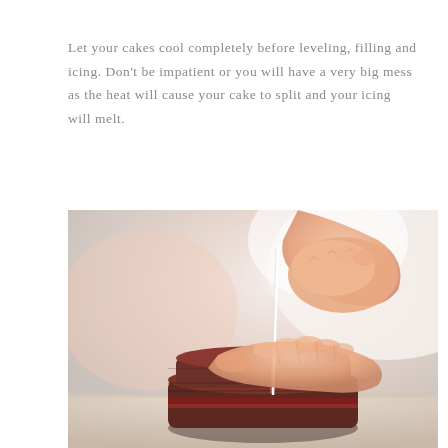Let your cakes cool completely before leveling, filling and icing. Don't be impatient or you will have a very big mess as the heat will cause your cake to split and your icing will melt.
[Figure (photo): A person using a cake leveler or wire tool to level a layered chocolate/red velvet cake on a countertop. Two hands are visible: one on top of the cake steadying it, the other holding the leveling tool. The cake appears to have multiple layers with filling visible.]